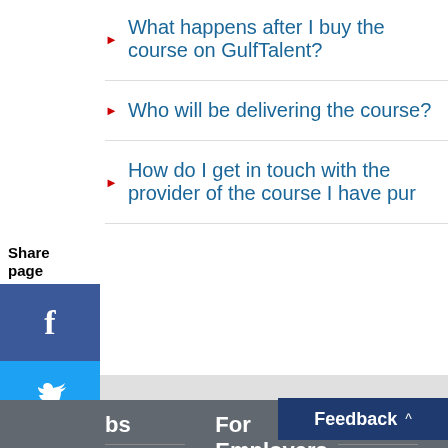What happens after I buy the course on GulfTalent?
Who will be delivering the course?
Share page
How do I get in touch with the provider of the course I have pur...
For Employers
Discover
jobs
Register for Jobs
Jobs by Title
Sign up for job alerts
Post a job
Search CV database
Salaries
Courses
Events
Feedback